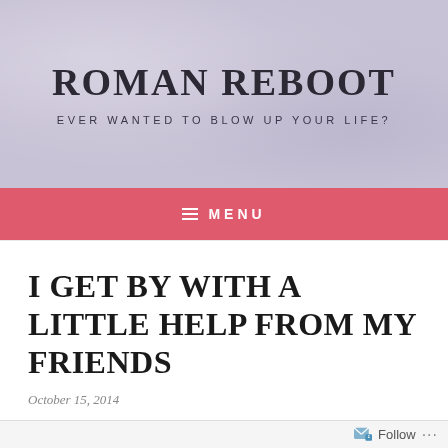ROMAN REBOOT
EVER WANTED TO BLOW UP YOUR LIFE?
≡  MENU
I GET BY WITH A LITTLE HELP FROM MY FRIENDS
October 15, 2014
Follow ...